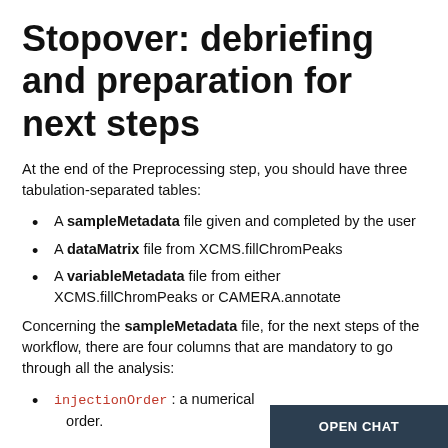Stopover: debriefing and preparation for next steps
At the end of the Preprocessing step, you should have three tabulation-separated tables:
A sampleMetadata file given and completed by the user
A dataMatrix file from XCMS.fillChromPeaks
A variableMetadata file from either XCMS.fillChromPeaks or CAMERA.annotate
Concerning the sampleMetadata file, for the next steps of the workflow, there are four columns that are mandatory to go through all the analysis:
injectionOrder : a numerical ... order.